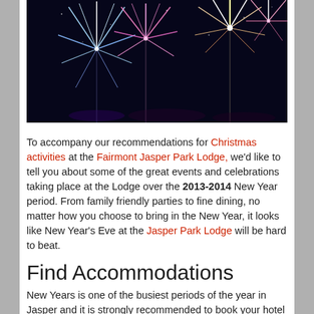[Figure (photo): Colorful fireworks display against a dark night sky, with multiple bursts of blue, purple, pink, orange and white fireworks.]
To accompany our recommendations for Christmas activities at the Fairmont Jasper Park Lodge, we'd like to tell you about some of the great events and celebrations taking place at the Lodge over the 2013-2014 New Year period. From family friendly parties to fine dining, no matter how you choose to bring in the New Year, it looks like New Year's Eve at the Jasper Park Lodge will be hard to beat.
Find Accommodations
New Years is one of the busiest periods of the year in Jasper and it is strongly recommended to book your hotel early to avoid disappointment.
To check rates and availability at the Fairmont Jasper Park